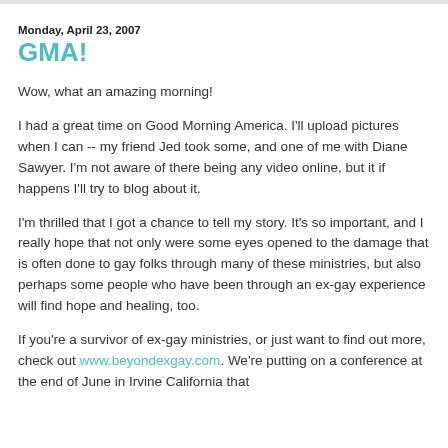Monday, April 23, 2007
GMA!
Wow, what an amazing morning!
I had a great time on Good Morning America. I'll upload pictures when I can -- my friend Jed took some, and one of me with Diane Sawyer. I'm not aware of there being any video online, but it if happens I'll try to blog about it.
I'm thrilled that I got a chance to tell my story. It's so important, and I really hope that not only were some eyes opened to the damage that is often done to gay folks through many of these ministries, but also perhaps some people who have been through an ex-gay experience will find hope and healing, too.
If you're a survivor of ex-gay ministries, or just want to find out more, check out www.beyondexgay.com. We're putting on a conference at the end of June in Irvine California that